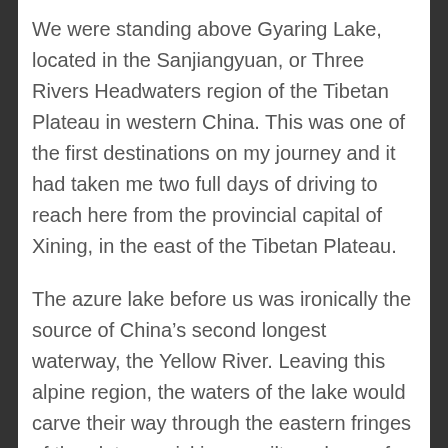We were standing above Gyaring Lake, located in the Sanjiangyuan, or Three Rivers Headwaters region of the Tibetan Plateau in western China. This was one of the first destinations on my journey and it had taken me two full days of driving to reach here from the provincial capital of Xining, in the east of the Tibetan Plateau.
The azure lake before us was ironically the source of China's second longest waterway, the Yellow River. Leaving this alpine region, the waters of the lake would carve their way through the eastern fringes of the plateau, picking up silt made up of mica, quartz and feldspar along its way, which would give the river its distinctive color. Passing through the north central plains, it would ultimately flow into the Bohai Sea, some